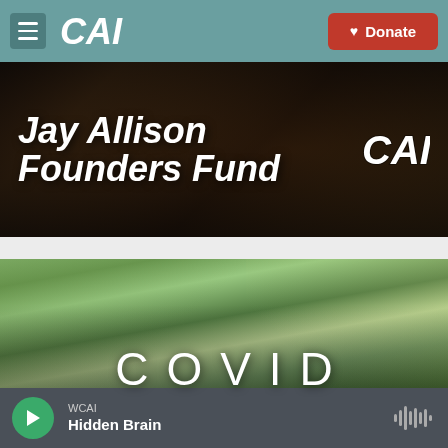CAI — Donate
[Figure (photo): Jay Allison Founders Fund banner with CAI logo on dark brown background]
[Figure (photo): Tree canopy photo with COVID text overlay in large spaced letters]
WCAI — Hidden Brain — Play button and waveform icon